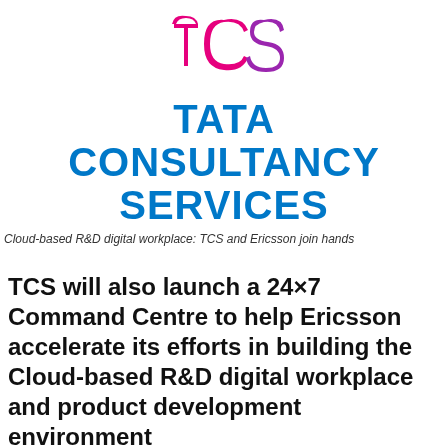[Figure (logo): TCS (Tata Consultancy Services) logo — stylized 'tcs' symbol in pink/magenta and purple above bold blue text reading TATA CONSULTANCY SERVICES]
Cloud-based R&D digital workplace: TCS and Ericsson join hands
TCS will also launch a 24×7 Command Centre to help Ericsson accelerate its efforts in building the Cloud-based R&D digital workplace and product development environment